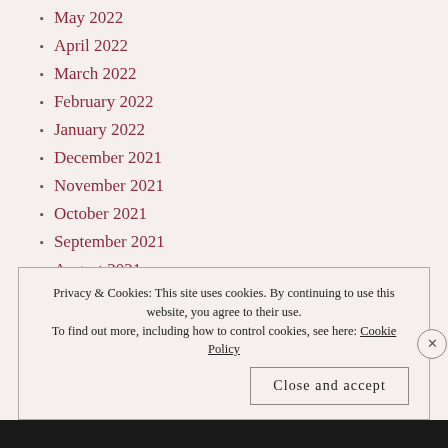May 2022
April 2022
March 2022
February 2022
January 2022
December 2021
November 2021
October 2021
September 2021
August 2021
July 2021
June 2021
Privacy & Cookies: This site uses cookies. By continuing to use this website, you agree to their use. To find out more, including how to control cookies, see here: Cookie Policy
Close and accept